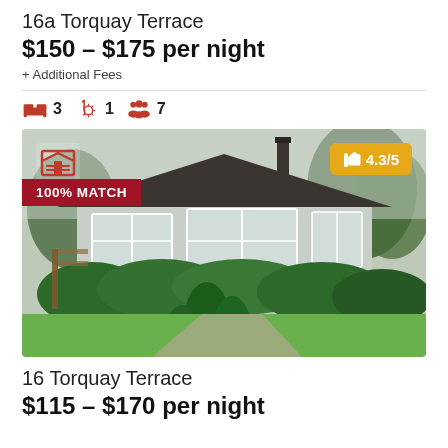16a Torquay Terrace
$150 – $175 per night
+ Additional Fees
3 bedrooms, 1 bathroom, 7 guests
[Figure (photo): Exterior photo of a single-storey house with light grey weatherboard cladding, large windows, dark roof with a chimney, surrounded by green hedges and garden. Overlays: red '100% MATCH' badge on left, orange/yellow '4.3/5' rating badge on top right, red garage icon top left.]
16 Torquay Terrace
$115 – $170 per night